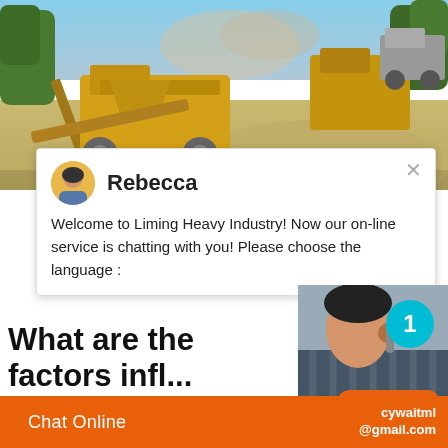[Figure (photo): Outdoor mining or quarry site with yellow heavy machinery (crushers/conveyors), dust, sandy ground, and trees in the background under a blue sky.]
Rebecca
Welcome to Liming Heavy Industry! Now our on-line service is chatting with you! Please choose the language :
What are the factors infl... the liner wear of a ball ..
The mill liners is not wear-resistant and ha... life: 1.The understanding of the working co...
Chat Online
cywaitml @gmail.com
Click to chat
Enquiry
1